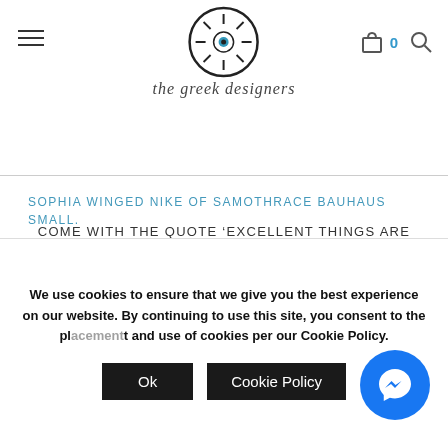[Figure (logo): The Greek Designers logo: circular eye/sun motif above stylized italic text 'the greek designers']
SOPHIA WINGED NIKE OF SAMOTHRACE BAUHAUS SMALL.
COME WITH THE QUOTE ‘EXCELLENT THINGS ARE RARE’ BY HERACLITUS.
The two-colour designs create a unique combination. Art is combined with design, eternity with modernity and the magic of timeless myths with the spirit of the 21st century. The collection’s creations are Golden Era messages, silently telling tales of beauty and nobility
We use cookies to ensure that we give you the best experience on our website. By continuing to use this site, you consent to the placement and use of cookies per our Cookie Policy.